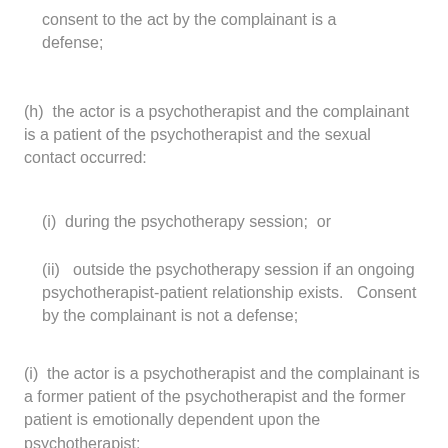consent to the act by the complainant is a defense;
(h)  the actor is a psychotherapist and the complainant is a patient of the psychotherapist and the sexual contact occurred:
(i)  during the psychotherapy session;  or
(ii)   outside the psychotherapy session if an ongoing psychotherapist-patient relationship exists.   Consent by the complainant is not a defense;
(i)  the actor is a psychotherapist and the complainant is a former patient of the psychotherapist and the former patient is emotionally dependent upon the psychotherapist;